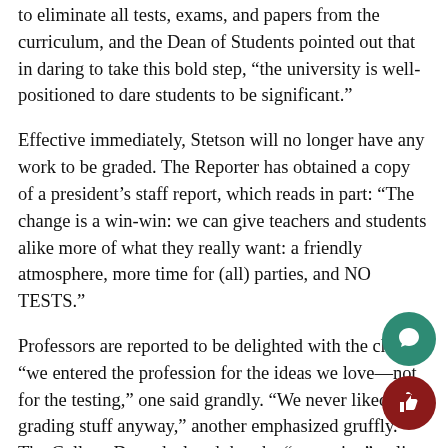to eliminate all tests, exams, and papers from the curriculum, and the Dean of Students pointed out that in daring to take this bold step, “the university is well-positioned to dare students to be significant.”
Effective immediately, Stetson will no longer have any work to be graded. The Reporter has obtained a copy of a president’s staff report, which reads in part: “The change is a win-win: we can give teachers and students alike more of what they really want: a friendly atmosphere, more time for (all) parties, and NO TESTS.”
Professors are reported to be delighted with the change; “we entered the profession for the ideas we love—not for the testing,” one said grandly. “We never liked that grading stuff anyway,” another emphasized gruffly. The College Dean declared that the “no testing” policy was in keeping with “the finest ideals of the liberal arts: learning for learning’s sake.” The School of Music Dean said, “It’s all about performance—who can grade a show!” The School of